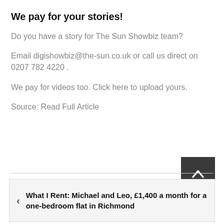We pay for your stories!
Do you have a story for The Sun Showbiz team?
Email digishowbiz@the-sun.co.uk or call us direct on 0207 782 4220 .
We pay for videos too. Click here to upload yours.
Source: Read Full Article
What I Rent: Michael and Leo, £1,400 a month for a one-bedroom flat in Richmond